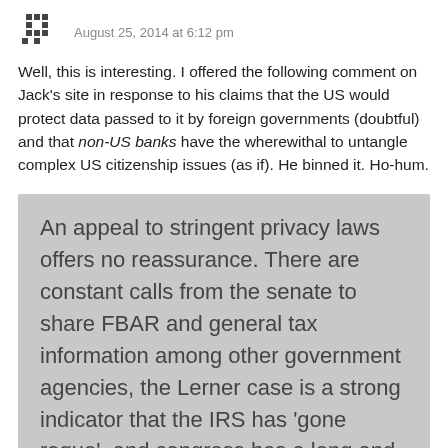August 25, 2014 at 6:12 pm
Well, this is interesting. I offered the following comment on Jack's site in response to his claims that the US would protect data passed to it by foreign governments (doubtful) and that non-US banks have the wherewithal to untangle complex US citizenship issues (as if). He binned it. Ho-hum.
An appeal to stringent privacy laws offers no reassurance. There are constant calls from the senate to share FBAR and general tax information among other government agencies, the Lerner case is a strong indicator that the IRS has 'gone rogue', and congress has a long and dishonourable track record of disregard for its treaty obligations